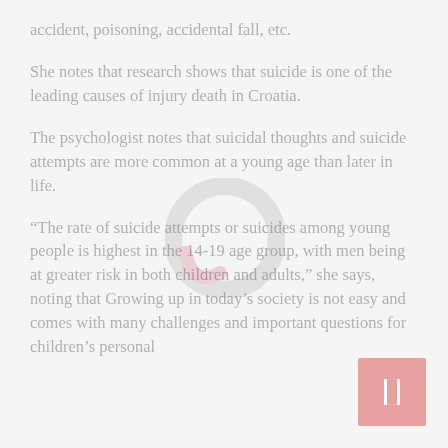accident, poisoning, accidental fall, etc.
She notes that research shows that suicide is one of the leading causes of injury death in Croatia.
The psychologist notes that suicidal thoughts and suicide attempts are more common at a young age than later in life.
“The rate of suicide attempts or suicides among young people is highest in the 14-19 age group, with men being at greater risk in both children and adults,” she says, noting that Growing up in today’s society is not easy and comes with many challenges and important questions for children’s personal